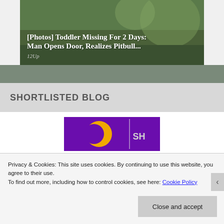[Figure (photo): Photo of a dog (appears to be a pitbull) outdoors on grass, with overlaid headline text]
[Photos] Toddler Missing For 2 Days: Man Opens Door, Realizes Pitbull...
12Up
SHORTLISTED BLOG
[Figure (logo): Purple and yellow/gold logo with 'SH' text visible on the right side]
Privacy & Cookies: This site uses cookies. By continuing to use this website, you agree to their use.
To find out more, including how to control cookies, see here: Cookie Policy
Close and accept